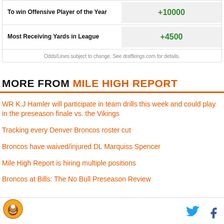| Bet Type | Odds |
| --- | --- |
| To win Offensive Player of the Year | +10000 |
| Most Receiving Yards in League | +4500 |
Odds/Lines subject to change. See draftkings.com for details.
MORE FROM MILE HIGH REPORT
WR K.J Hamler will participate in team drills this week and could play in the preseason finale vs. the Vikings
Tracking every Denver Broncos roster cut
Broncos have waived/injured DL Marquiss Spencer
Mile High Report is hiring multiple positions
Broncos at Bills: The No Bull Preseason Review
Mile High Report logo, Twitter icon, Facebook icon